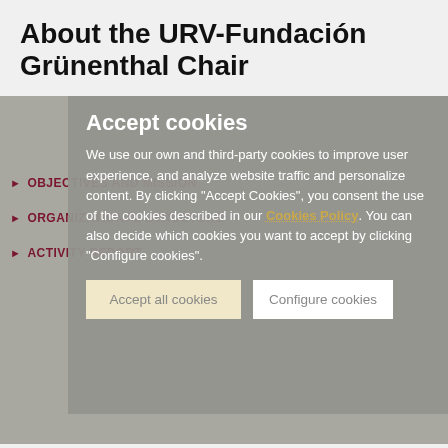About the URV-Fundación Grünenthal Chair
OBJECTIVES AND MISSION
ORGANIZATIONAL STRUCTURE
ACTIVITY REPORT
Accept cookies
We use our own and third-party cookies to improve user experience, and analyze website traffic and personalize content. By clicking "Accept Cookies", you consent the use of the cookies described in our Cookies Policy. You can also decide which cookies you want to accept by clicking "Configure cookies".
Accept all cookies
Configure cookies